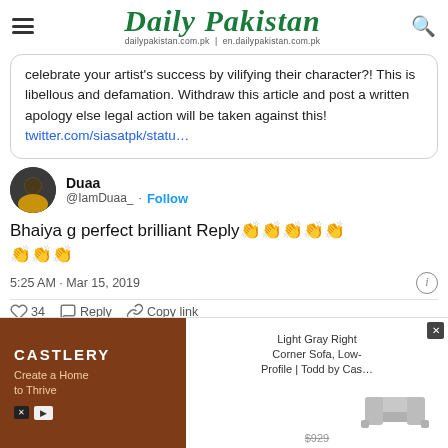Daily Pakistan — dailypakistan.com.pk | en.dailypakistan.com.pk
celebrate your artist's success by vilifying their character?! This is libellous and defamation. Withdraw this article and post a written apology else legal action will be taken against this! twitter.com/siasatpk/statu…
Duaa @IamDuaa_ · Follow
Bhaiya g perfect brilliant Reply👏👏👏👏👏👏👏👏
5:25 AM · Mar 15, 2019
34  Reply  Copy link
[Figure (screenshot): Castlery advertisement showing sofa product with price $929 strikethrough]